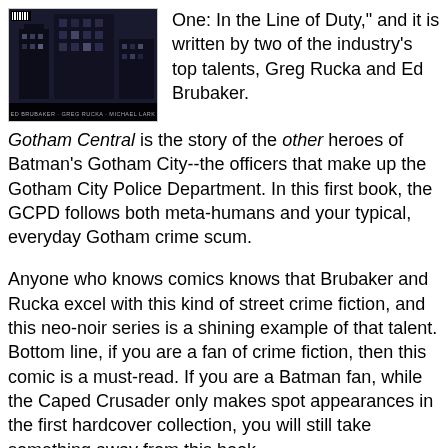[Figure (illustration): Book cover of Gotham Central showing a dark building at night with author names Ed Brubaker, Greg Rucka, Michael Lark at the bottom]
One: In the Line of Duty," and it is written by two of the industry's top talents, Greg Rucka and Ed Brubaker.
Gotham Central is the story of the other heroes of Batman's Gotham City--the officers that make up the Gotham City Police Department. In this first book, the GCPD follows both meta-humans and your typical, everyday Gotham crime scum.
Anyone who knows comics knows that Brubaker and Rucka excel with this kind of street crime fiction, and this neo-noir series is a shining example of that talent. Bottom line, if you are a fan of crime fiction, then this comic is a must-read. If you are a Batman fan, while the Caped Crusader only makes spot appearances in the first hardcover collection, you will still take something away from this book.
We learn from the very first issue of the series that Batman isn't exactly...liked...by all of Gotham's cops. Think about it: Batman gets the collars, the newspaper headlines, and he gets to operate outside of the law and without any